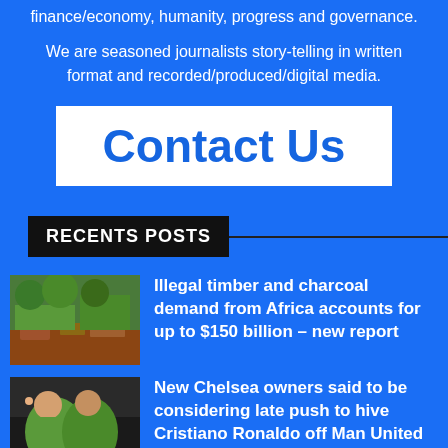finance/economy, humanity, progress and governance.
We are seasoned journalists story-telling in written format and recorded/produced/digital media.
Contact Us
RECENTS POSTS
Illegal timber and charcoal demand from Africa accounts for up to $150 billion – new report
New Chelsea owners said to be considering late push to hive Cristiano Ronaldo off Man United